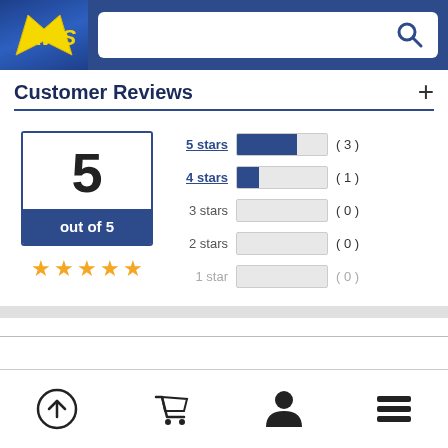[Figure (logo): AWS logo in yellow italic on dark blue background with search bar]
Customer Reviews
[Figure (bar-chart): Customer Reviews Rating]
5 out of 5
[Figure (infographic): 5 gold stars rating]